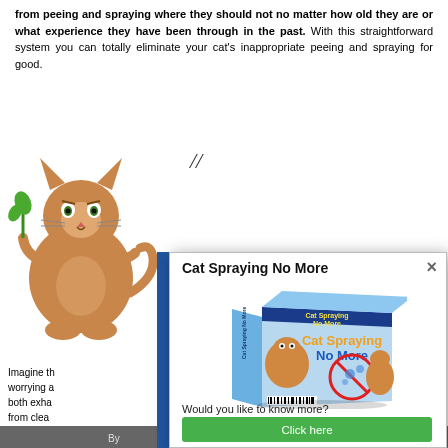from peeing and spraying where they should not no matter how old they are or what experience they have been through in the past. With this straightforward system you can totally eliminate your cat's inappropriate peeing and spraying for good.
[Figure (illustration): Cartoon illustration of an orange/brown cat holding a green plant stem]
Imagine th worrying a both exha from clea happy and
Cat Spray be taught
This syste behaviour
By
Cat Spraying No More
[Figure (photo): Product box image for 'Cat Spraying No More' featuring an orange cat and a no-spray symbol]
Would you like to know more?
Click here